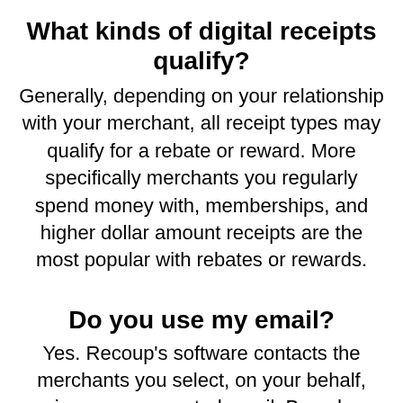What kinds of digital receipts qualify?
Generally, depending on your relationship with your merchant, all receipt types may qualify for a rebate or reward. More specifically merchants you regularly spend money with, memberships, and higher dollar amount receipts are the most popular with rebates or rewards.
Do you use my email?
Yes. Recoup's software contacts the merchants you select, on your behalf, using your connected email. Based on thousands